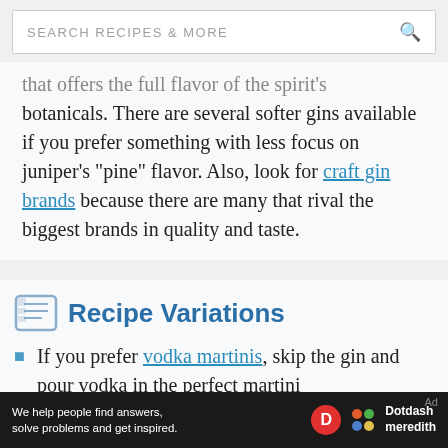SEARCH RECIPES & MORE
that offers the full flavor of the spirit's botanicals. There are several softer gins available if you prefer something with less focus on juniper's "pine" flavor. Also, look for craft gin brands because there are many that rival the biggest brands in quality and taste.
Recipe Variations
If you prefer vodka martinis, skip the gin and pour vodka in the perfect martini
We help people find answers, solve problems and get inspired. Dotdash meredith